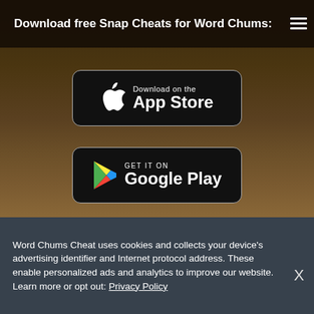Download free Snap Cheats for Word Chums:
[Figure (screenshot): App Store download button (black rounded rectangle with Apple logo and 'Download on the App Store' text)]
[Figure (screenshot): Google Play download button (black rounded rectangle with Google Play triangle logo and 'GET IT ON Google Play' text)]
Word Chums Cheat uses cookies and collects your device's advertising identifier and Internet protocol address. These enable personalized ads and analytics to improve our website. Learn more or opt out: Privacy Policy